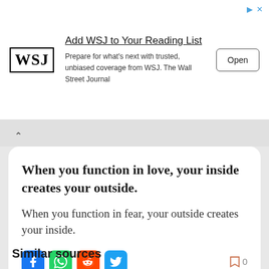[Figure (screenshot): WSJ advertisement banner with logo, text 'Add WSJ to Your Reading List', description text, and Open button]
When you function in love, your inside creates your outside.
When you function in fear, your outside creates your inside.
[Figure (infographic): Social sharing icons: Facebook, WhatsApp, Reddit, Twitter; bookmark icon with count 0]
Similar sources